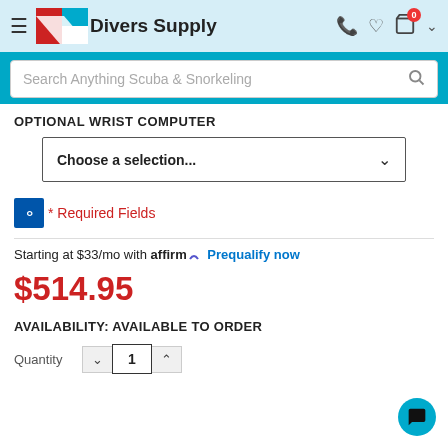[Figure (logo): Divers Supply logo with navigation header showing hamburger menu, phone, heart, and cart icons]
Search Anything Scuba & Snorkeling
OPTIONAL WRIST COMPUTER
Choose a selection...
* Required Fields
Starting at $33/mo with affirm. Prequalify now
$514.95
AVAILABILITY: AVAILABLE TO ORDER
Quantity 1